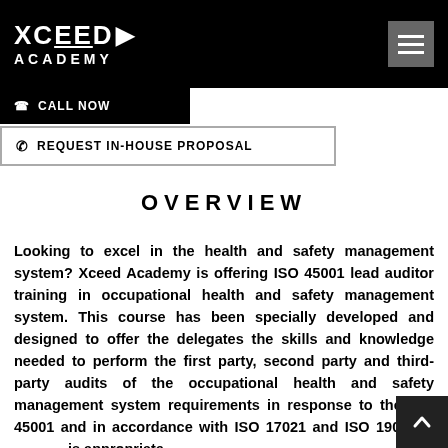[Figure (logo): Xceed Academy logo — white text on black background with hamburger menu icon on the right]
CALL NOW
REQUEST IN-HOUSE PROPOSAL
OVERVIEW
Looking to excel in the health and safety management system? Xceed Academy is offering ISO 45001 lead auditor training in occupational health and safety management system. This course has been specially developed and designed to offer the delegates the skills and knowledge needed to perform the first party, second party and third-party audits of the occupational health and safety management system requirements in response to the ISO 45001 and in accordance with ISO 17021 and ISO 19011 which is appropriate.